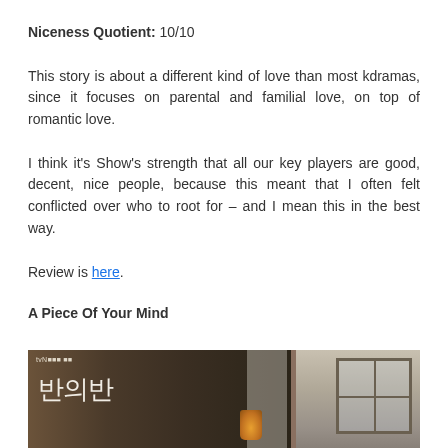Niceness Quotient: 10/10
This story is about a different kind of love than most kdramas, since it focuses on parental and familial love, on top of romantic love.
I think it's Show's strength that all our key players are good, decent, nice people, because this meant that I often felt conflicted over who to root for – and I mean this in the best way.
Review is here.
A Piece Of Your Mind
[Figure (photo): Korean drama poster for 반의반 (A Piece Of Your Mind) showing tvN logo, Korean text, and a dimly lit room scene with a candle and wooden window frame]